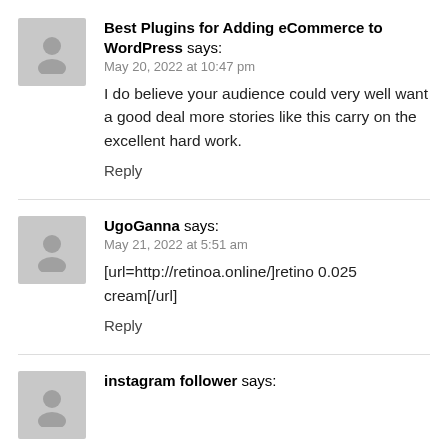Best Plugins for Adding eCommerce to WordPress says:
May 20, 2022 at 10:47 pm
I do believe your audience could very well want a good deal more stories like this carry on the excellent hard work.
Reply
UgoGanna says:
May 21, 2022 at 5:51 am
[url=http://retinoa.online/]retino 0.025 cream[/url]
Reply
instagram follower says: